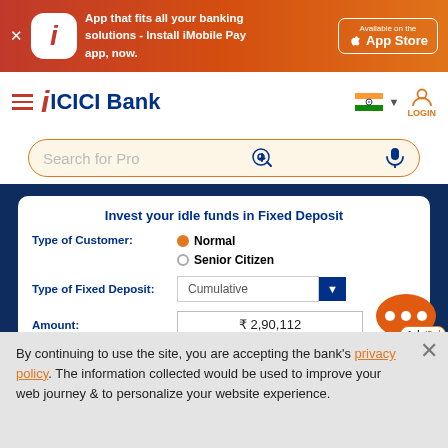[Figure (screenshot): ICICI Bank iMobile Pay app advertisement banner with gradient red-orange background, app icon, text and App Store button]
[Figure (logo): ICICI Bank navigation bar with hamburger menu, ICICI Bank logo, Indian flag, and LOGIN button]
Search for Pro
Invest your idle funds in Fixed Deposit
Type of Customer: Normal / Senior Citizen
Type of Fixed Deposit: Cumulative
Amount: ₹ 2,90,112
Date Of FD: 24-Aug-2022
By continuing to use the site, you are accepting the bank's privacy policy. The information collected would be used to improve your web journey & to personalize your website experience.